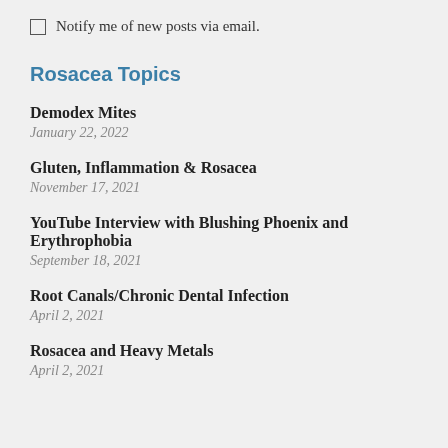Notify me of new posts via email.
Rosacea Topics
Demodex Mites
January 22, 2022
Gluten, Inflammation & Rosacea
November 17, 2021
YouTube Interview with Blushing Phoenix and Erythrophobia
September 18, 2021
Root Canals/Chronic Dental Infection
April 2, 2021
Rosacea and Heavy Metals
April 2, 2021